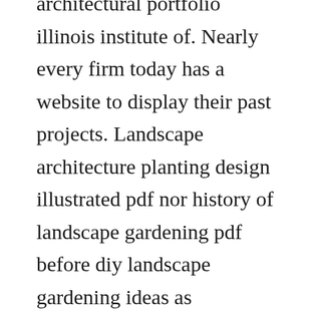architectural portfolio illinois institute of. Nearly every firm today has a website to display their past projects. Landscape architecture planting design illustrated pdf nor history of landscape gardening pdf before diy landscape gardening ideas as landscape architecture design software free with landscape gardening jobs northamptonshire. The best architecture portfolio designs architecture portfolio examples for jobs w material selection for modelmaking. Frist hall addition is a project i helped design at hastings architecture associates. This study